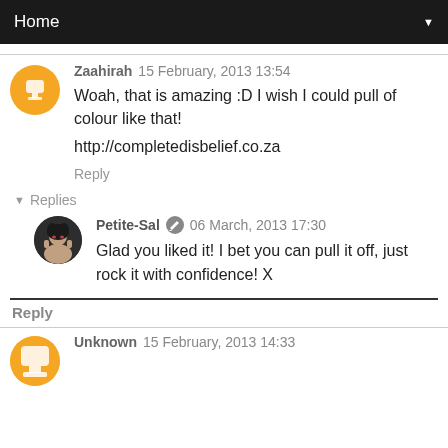Home
Zaahirah  15 February, 2013 13:54
Woah, that is amazing :D I wish I could pull of colour like that!

http://completedisbelief.co.za

Reply
▼ Replies
Petite-Sal  06 March, 2013 17:30
Glad you liked it! I bet you can pull it off, just rock it with confidence! X

Reply
Unknown  15 February, 2013 14:33